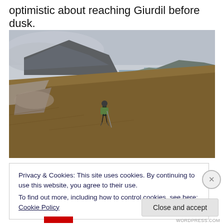optimistic about reaching Giurdil before dusk.
[Figure (photo): A hiker with a backpack and trekking poles traversing a steep hillside with brown moorland grass and rocky terrain. In the background, a dramatic coastline with sea cliffs, a grey-blue sea, and a cloud-covered mountain is visible under an overcast sky.]
Privacy & Cookies: This site uses cookies. By continuing to use this website, you agree to their use.
To find out more, including how to control cookies, see here: Cookie Policy
Close and accept